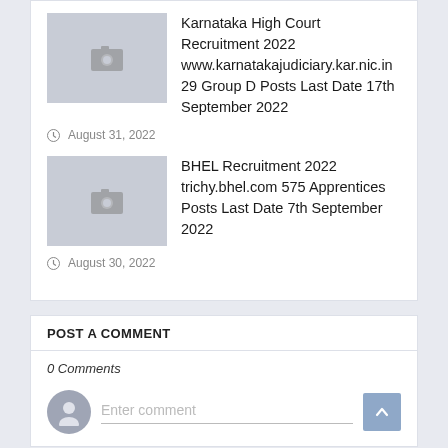Karnataka High Court Recruitment 2022 www.karnatakajudiciary.kar.nic.in 29 Group D Posts Last Date 17th September 2022
August 31, 2022
BHEL Recruitment 2022 trichy.bhel.com 575 Apprentices Posts Last Date 7th September 2022
August 30, 2022
POST A COMMENT
0 Comments